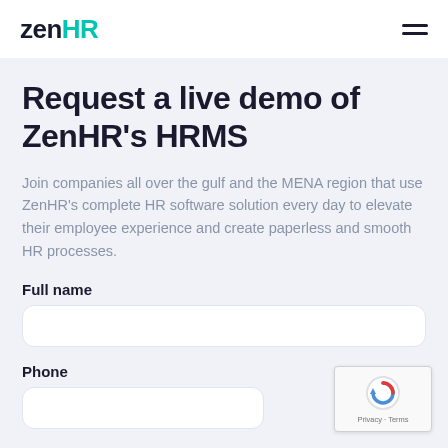zenHR
Request a live demo of ZenHR's HRMS
Join companies all over the gulf and the MENA region that use ZenHR's complete HR software solution every day to elevate their employee experience and create paperless and smooth HR processes.
Full name
Phone
[Figure (other): reCAPTCHA badge with robot icon, Privacy and Terms links]